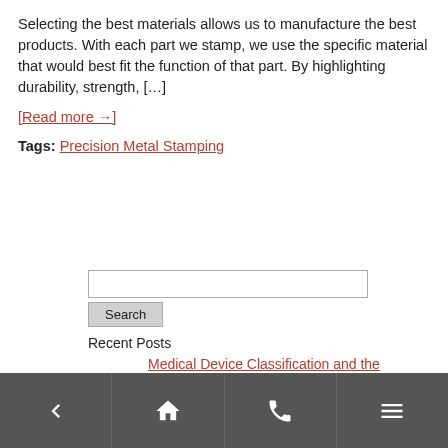Selecting the best materials allows us to manufacture the best products. With each part we stamp, we use the specific material that would best fit the function of that part. By highlighting durability, strength, […]
[Read more →]
Tags: Precision Metal Stamping
Search (input field and button)
Recent Posts
Medical Device Classification and the Fabrication Role of Precision Metal Stamping in Minneapolis, MN
Navigation bar: back, home, phone, menu